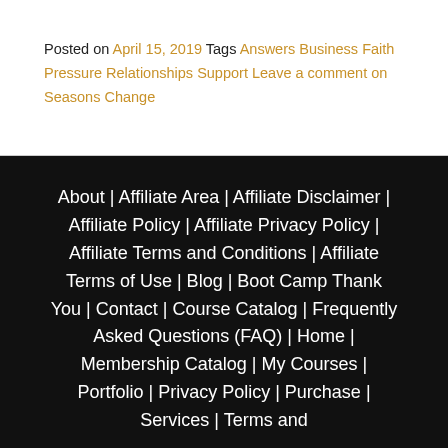Posted on April 15, 2019  Tags Answers Business Faith Pressure Relationships Support  Leave a comment on Seasons Change
About | Affiliate Area | Affiliate Disclaimer | Affiliate Policy | Affiliate Privacy Policy | Affiliate Terms and Conditions | Affiliate Terms of Use | Blog | Boot Camp Thank You | Contact | Course Catalog | Frequently Asked Questions (FAQ) | Home | Membership Catalog | My Courses | Portfolio | Privacy Policy | Purchase | Services | Terms and